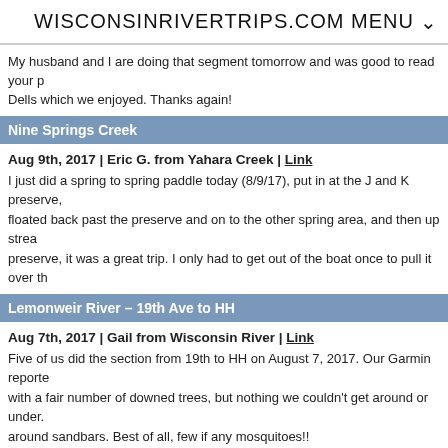WISCONSINRIVERTRIPS.COM MENU
My husband and I are doing that segment tomorrow and was good to read your p... Dells which we enjoyed. Thanks again!
Nine Springs Creek
Aug 9th, 2017 | Eric G. from Yahara Creek | Link
I just did a spring to spring paddle today (8/9/17), put in at the J and K preserve, floated back past the preserve and on to the other spring area, and then up strea... preserve, it was a great trip. I only had to get out of the boat once to pull it over th...
Lemonweir River – 19th Ave to HH
Aug 7th, 2017 | Gail from Wisconsin River | Link
Five of us did the section from 19th to HH on August 7, 2017. Our Garmin reporte... with a fair number of downed trees, but nothing we couldn't get around or under. ... around sandbars. Best of all, few if any mosquitoes!!
Pewaukee River
Aug 5th, 2017 | Mike from Pewaukee River | Link
Kayaked today at 56 cfm. The water level is significantly higher than the last time... to create about 3 "dams" that are keeping the water level up. The water was fast... scoot my boat over logs in the river. There are a few notable dangerous spots: 1...